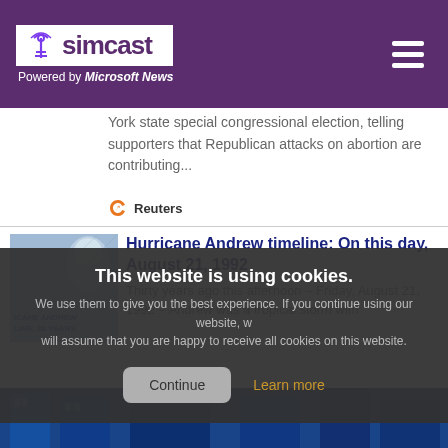simcast — Powered by Microsoft News
York state special congressional election, telling supporters that Republican attacks on abortion are contributing...
Reuters
Hurricane Andrew timeline: On this day, August 21, 1992
Thirty years ago this afternoon – Friday, August 21, 1992 – Andrew was a tropical storm with
This website is using cookies. We use them to give you the best experience. If you continue using our website, we will assume that you are happy to receive all cookies on this website.
[Figure (photo): Blue-toned photo of city skyscrapers viewed from below]